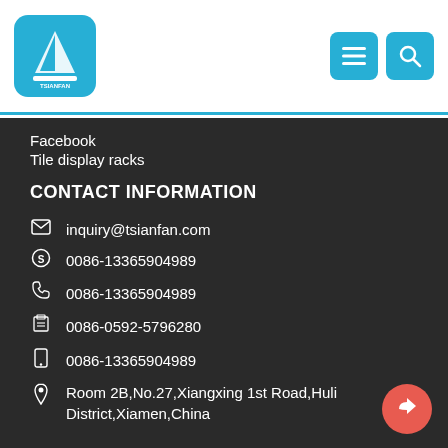[Figure (logo): Tsianfan Display logo - white sailboat on blue rounded square background with text TSIANFAN DISPLAY]
[Figure (infographic): Navigation icons - hamburger menu and search icon on blue rounded square backgrounds]
Facebook
Tile display racks
CONTACT INFORMATION
inquiry@tsianfan.com
0086-13365904989
0086-13365904989
0086-0592-5796280
0086-13365904989
Room 2B,No.27,Xiangxing 1st Road,Huli District,Xiamen,China